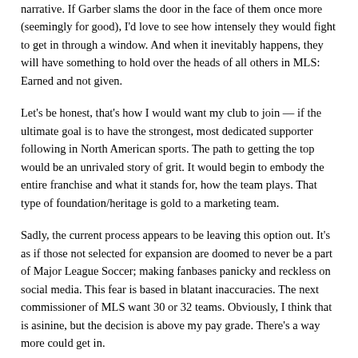narrative. If Garber slams the door in the face of them once more (seemingly for good), I'd love to see how intensely they would fight to get in through a window. And when it inevitably happens, they will have something to hold over the heads of all others in MLS: Earned and not given.
Let's be honest, that's how I would want my club to join — if the ultimate goal is to have the strongest, most dedicated supporter following in North American sports. The path to getting the top would be an unrivaled story of grit. It would begin to embody the entire franchise and what it stands for, how the team plays. That type of foundation/heritage is gold to a marketing team.
Sadly, the current process appears to be leaving this option out. It's as if those not selected for expansion are doomed to never be a part of Major League Soccer; making fanbases panicky and reckless on social media. This fear is based in blatant inaccuracies. The next commissioner of MLS want 30 or 32 teams. Obviously, I think that is asinine, but the decision is above my pay grade. There's a way more could get in.
Promotion/relegation should also become a viable option that is put into practice throughout the world. Note: "Pro/rel" is the pretentious lingo necessary to call